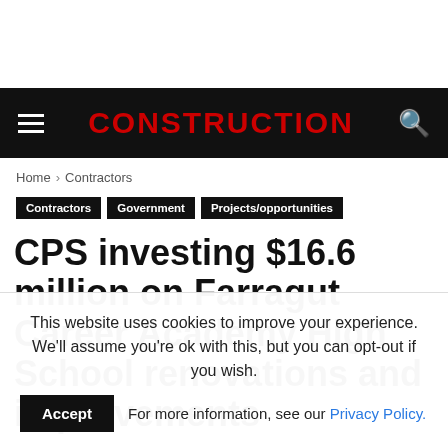CONSTRUCTION
Home › Contractors
Contractors
Government
Projects/opportunities
CPS investing $16.6 million on Farragut Career Academy High School renovations and improvements
This website uses cookies to improve your experience. We'll assume you're ok with this, but you can opt-out if you wish.
Accept  For more information, see our Privacy Policy.